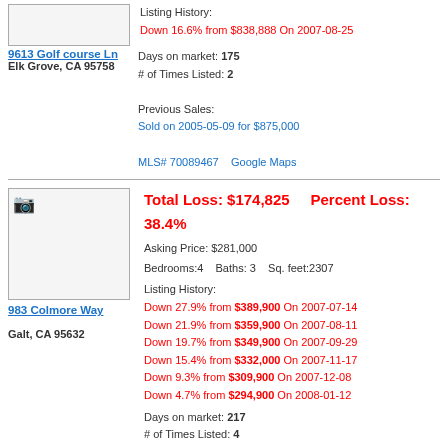[Figure (photo): Property image placeholder for 9613 Golf Course Ln (partially visible at top)]
Listing History:
Down 16.6% from $838,888 On 2007-08-25
9613 Golf course Ln
Elk Grove, CA 95758
Days on market: 175
# of Times Listed: 2
Previous Sales:
Sold on 2005-05-09 for $875,000
MLS# 70089467    Google Maps
[Figure (photo): Property image placeholder for 983 Colmore Way]
Total Loss: $174,825    Percent Loss: 38.4%
Asking Price: $281,000
Bedrooms:4   Baths: 3   Sq. feet:2307
Listing History:
Down 27.9% from $389,900 On 2007-07-14
Down 21.9% from $359,900 On 2007-08-11
Down 19.7% from $349,900 On 2007-09-29
Down 15.4% from $332,000 On 2007-11-17
Down 9.3% from $309,900 On 2007-12-08
Down 4.7% from $294,900 On 2008-01-12
983 Colmore Way
Galt, CA 95632
Days on market: 217
# of Times Listed: 4
Previous Sales:
Sold on 2006-03-31 for $530,000
Sold on 2007-05-25 for $455,825
MLS# 70118248    Google Maps